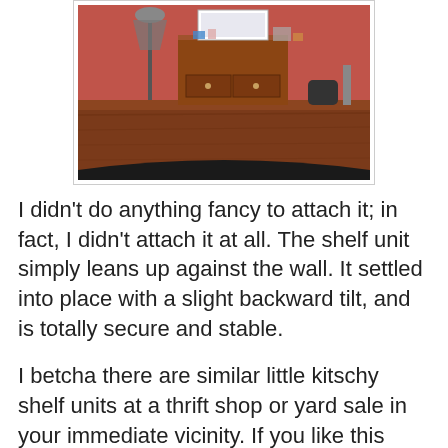[Figure (photo): A photograph showing a wooden desk/dresser with a pink/magenta wall background. Various items are visible on top including what appears to be a lamp, mirror, and other decorative objects.]
I didn't do anything fancy to attach it; in fact, I didn't attach it at all. The shelf unit simply leans up against the wall. It settled into place with a slight backward tilt, and is totally secure and stable.
I betcha there are similar little kitschy shelf units at a thrift shop or yard sale in your immediate vicinity. If you like this idea, may you go forth and find them.
But wait, there's more!